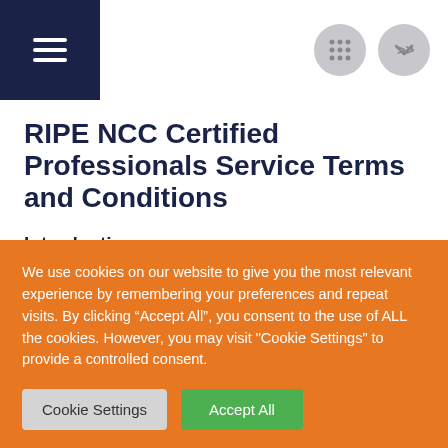[Figure (screenshot): Navigation bar with hamburger menu icon on dark navy background, and two circular grey icon buttons on the right]
RIPE NCC Certified Professionals Service Terms and Conditions
Introduction
This document stipulates the Terms and Conditions for the RIPE NCC Certified Professionals Service which define your rights and
We use cookies on our website to give you the most relevant experience by remembering your preferences and repeat visits. By clicking “Accept All”, you consent to the use of ALL the cookies. However, you may visit "Cookie Settings" to provide a controlled consent.